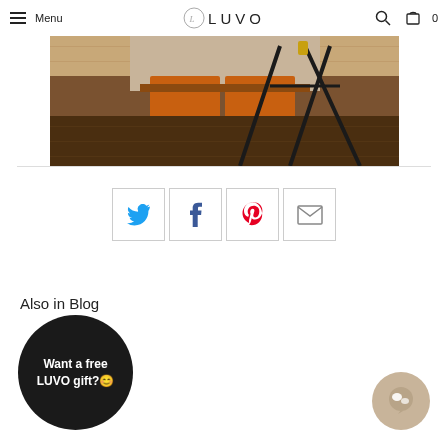Menu | LUVO | [search icon] [cart icon] 0
[Figure (photo): Cropped photo showing lower body of person wearing tan/brown outfit with orange socks/boots near a black tripod on a dark wood floor]
[Figure (infographic): Four social share buttons in a row: Twitter (blue bird), Facebook (blue f), Pinterest (red P), Email (envelope)]
Also in Blog
[Figure (illustration): Black circular badge with white text: Want a free LUVO gift? with smiley emoji]
[Figure (illustration): Beige/tan chat bubble icon in bottom right corner]